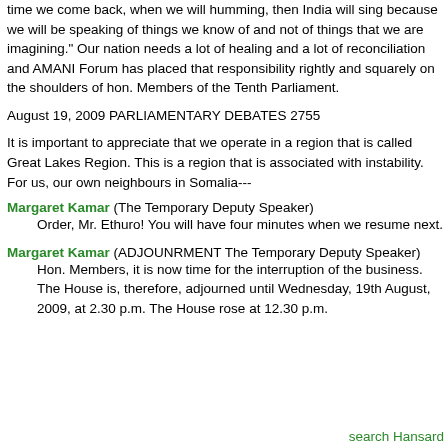time we come back, when we will humming, then India will sing because we will be speaking of things we know of and not of things that we are imagining." Our nation needs a lot of healing and a lot of reconciliation and AMANI Forum has placed that responsibility rightly and squarely on the shoulders of hon. Members of the Tenth Parliament.
August 19, 2009 PARLIAMENTARY DEBATES 2755
It is important to appreciate that we operate in a region that is called Great Lakes Region. This is a region that is associated with instability. For us, our own neighbours in Somalia---
Margaret Kamar (The Temporary Deputy Speaker)
Order, Mr. Ethuro! You will have four minutes when we resume next.
Margaret Kamar (ADJOUNRMENT The Temporary Deputy Speaker)
Hon. Members, it is now time for the interruption of the business. The House is, therefore, adjourned until Wednesday, 19th August, 2009, at 2.30 p.m. The House rose at 12.30 p.m.
search Hansard